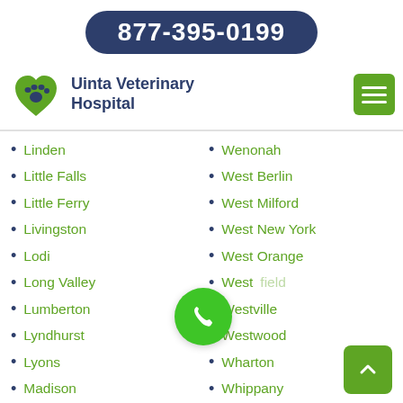877-395-0199
[Figure (logo): Uinta Veterinary Hospital logo with green paw print heart icon]
Uinta Veterinary Hospital
Linden
Little Falls
Little Ferry
Livingston
Lodi
Long Valley
Lumberton
Lyndhurst
Lyons
Madison
Magnolia
Malaga
Wenonah
West Berlin
West Milford
West New York
West Orange
West[field]
Westville
Westwood
Wharton
Whippany
Whitehouse
Whitehouse Station